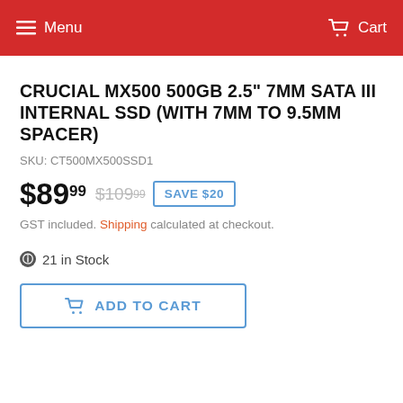Menu  Cart
CRUCIAL MX500 500GB 2.5" 7MM SATA III INTERNAL SSD (WITH 7MM TO 9.5MM SPACER)
SKU: CT500MX500SSD1
$89.99  $109.99  SAVE $20
GST included. Shipping calculated at checkout.
21 in Stock
ADD TO CART